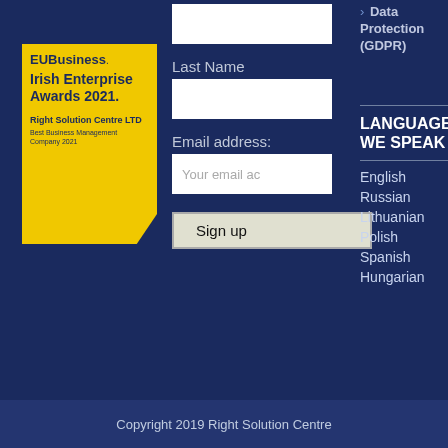[Figure (logo): EU Business Irish Enterprise Awards 2021 badge for Right Solution Centre LTD - Best Business Management Company 2021, yellow badge with dark blue text]
Last Name
Email address:
Your email ac
Sign up
Data Protection (GDPR)
LANGUAGES WE SPEAK
English
Russian
Lithuanian
Polish
Spanish
Hungarian
Copyright 2019 Right Solution Centre